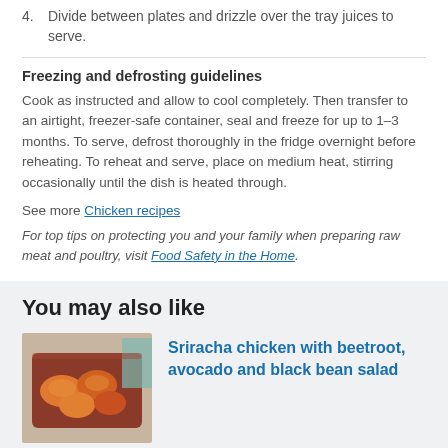4.  Divide between plates and drizzle over the tray juices to serve.
Freezing and defrosting guidelines
Cook as instructed and allow to cool completely. Then transfer to an airtight, freezer-safe container, seal and freeze for up to 1–3 months. To serve, defrost thoroughly in the fridge overnight before reheating. To reheat and serve, place on medium heat, stirring occasionally until the dish is heated through.
See more Chicken recipes
For top tips on protecting you and your family when preparing raw meat and poultry, visit Food Safety in the Home.
You may also like
[Figure (photo): Photo of Sriracha chicken with beetroot, avocado and black bean salad dish in a baking tray]
Sriracha chicken with beetroot, avocado and black bean salad